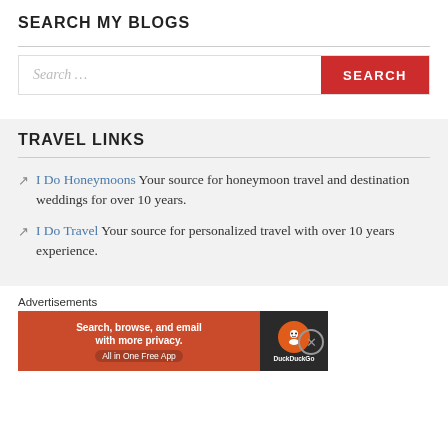SEARCH MY BLOGS
[Figure (screenshot): Search bar with text input showing 'Search ...' placeholder and a red SEARCH button]
TRAVEL LINKS
I Do Honeymoons Your source for honeymoon travel and destination weddings for over 10 years.
I Do Travel Your source for personalized travel with over 10 years experience.
Advertisements
[Figure (screenshot): DuckDuckGo advertisement banner: 'Search, browse, and email with more privacy. All in One Free App']